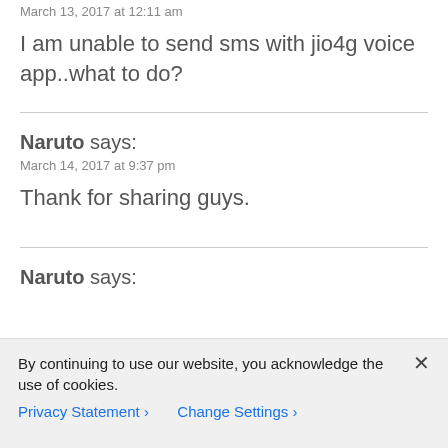March 13, 2017 at 12:11 am
I am unable to send sms with jio4g voice app..what to do?
Naruto says:
March 14, 2017 at 9:37 pm
Thank for sharing guys.
Naruto says:
By continuing to use our website, you acknowledge the use of cookies.
Privacy Statement > Change Settings >